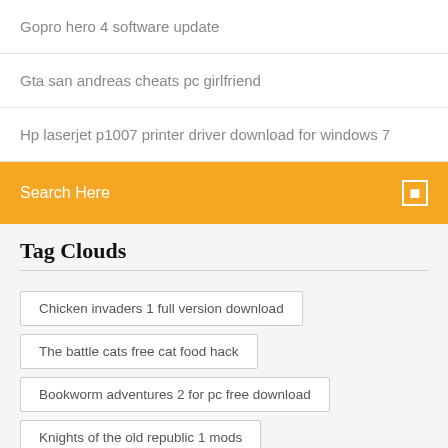Gopro hero 4 software update
Gta san andreas cheats pc girlfriend
Hp laserjet p1007 printer driver download for windows 7
Search Here
Tag Clouds
Chicken invaders 1 full version download
The battle cats free cat food hack
Bookworm adventures 2 for pc free download
Knights of the old republic 1 mods